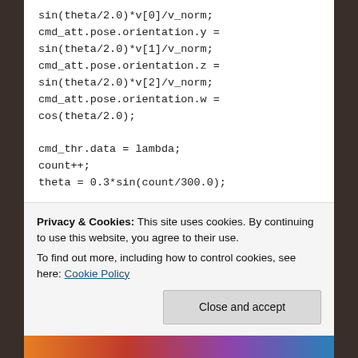sin(theta/2.0)*v[0]/v_norm;
cmd_att.pose.orientation.y =
sin(theta/2.0)*v[1]/v_norm;
cmd_att.pose.orientation.z =
sin(theta/2.0)*v[2]/v_norm;
cmd_att.pose.orientation.w =
cos(theta/2.0);

cmd_thr.data = lambda;
count++;
theta = 0.3*sin(count/300.0);

geometry_msgs::Vector3 Desired_Euler;
Desired_Euler.x = 0.3*sin(Pi*0.2*Time);
Desired_Euler.y = 0;
Desired_Euler.z =
Privacy & Cookies: This site uses cookies. By continuing to use this website, you agree to their use.
To find out more, including how to control cookies, see here: Cookie Policy